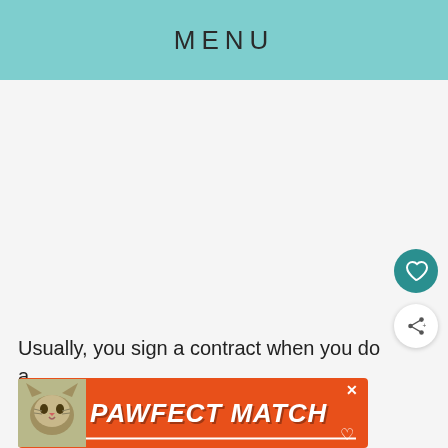MENU
[Figure (other): Large blank/light gray content area placeholder]
Usually, you sign a contract when you do a
[Figure (other): Orange advertisement banner with cat image reading PAWFECT MATCH]